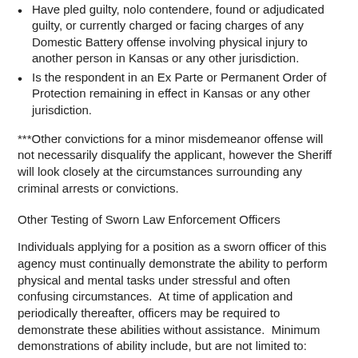Have pled guilty, nolo contendere, found or adjudicated guilty, or currently charged or facing charges of any Domestic Battery offense involving physical injury to another person in Kansas or any other jurisdiction.
Is the respondent in an Ex Parte or Permanent Order of Protection remaining in effect in Kansas or any other jurisdiction.
***Other convictions for a minor misdemeanor offense will not necessarily disqualify the applicant, however the Sheriff will look closely at the circumstances surrounding any criminal arrests or convictions.
Other Testing of Sworn Law Enforcement Officers
Individuals applying for a position as a sworn officer of this agency must continually demonstrate the ability to perform physical and mental tasks under stressful and often confusing circumstances.  At time of application and periodically thereafter, officers may be required to demonstrate these abilities without assistance.  Minimum demonstrations of ability include, but are not limited to:
Disassembling, reassembling, loading, firing, and